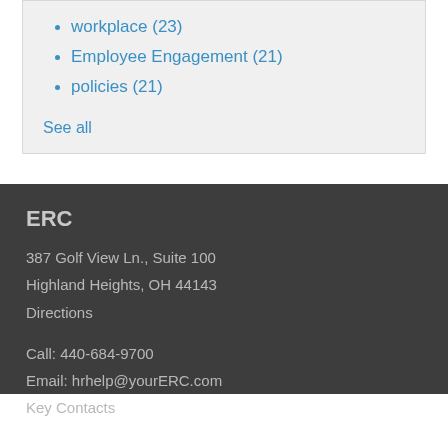workplace (23)
Employee Engagement (21)
policies (21)
See all
ERC
387 Golf View Ln., Suite 100
Highland Heights, OH 44143
Directions
Call: 440-684-9700
Email: hrhelp@yourERC.com
Key Contacts